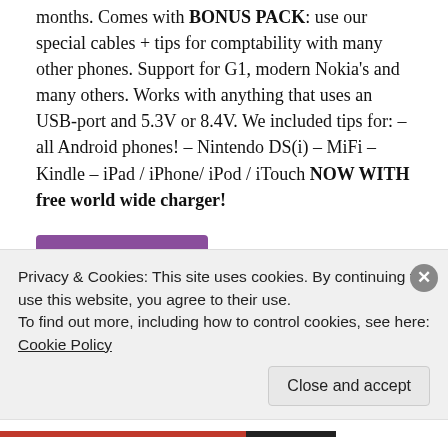months. Comes with BONUS PACK: use our special cables + tips for comptability with many other phones. Support for G1, modern Nokia's and many others. Works with anything that uses an USB-port and 5.3V or 8.4V. We included tips for: – all Android phones! – Nintendo DS(i) – MiFi – Kindle – iPad / iPhone/ iPod / iTouch NOW WITH free world wide charger!
Buy product
Categories: Electronic Accessories, Electronics
Privacy & Cookies: This site uses cookies. By continuing to use this website, you agree to their use.
To find out more, including how to control cookies, see here: Cookie Policy
Close and accept